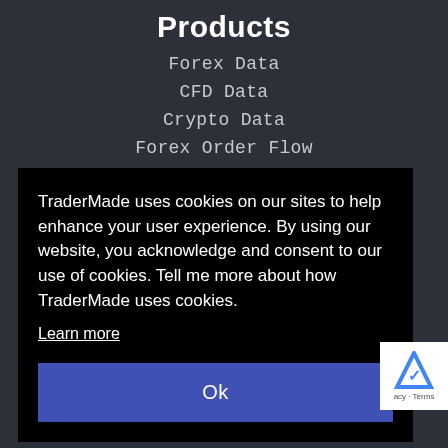Products
Forex Data
CFD Data
Crypto Data
Forex Order Flow
TraderMade uses cookies on our sites to help enhance your user experience. By using our website, you acknowledge and consent to our use of cookies. Tell me more about how TraderMade uses cookies.
Learn more
Ok
Resources